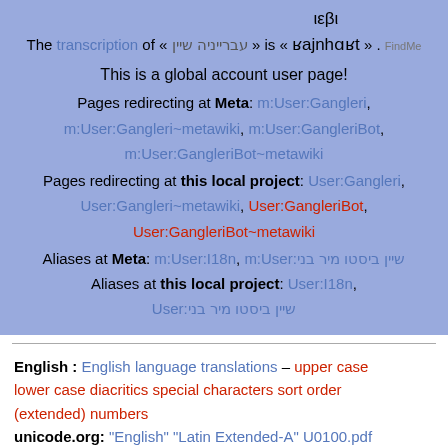The transcription of « עברייניה שיין » is « ιεβι ʁajnhɑʁt ». FindMe
This is a global account user page!
Pages redirecting at Meta: m:User:Gangleri, m:User:Gangleri~metawiki, m:User:GangleriBot, m:User:GangleriBot~metawiki
Pages redirecting at this local project: User:Gangleri, User:Gangleri~metawiki, User:GangleriBot, User:GangleriBot~metawiki
Aliases at Meta: m:User:I18n, m:User:שיין ביסטו מיר בני
Aliases at this local project: User:I18n, User:שיין ביסטו מיר בני
English : English language translations – upper case lower case diacritics special characters sort order (extended) numbers
unicode.org: "English" "Latin Extended-A" U0100.pdf
"Combining Diacritical Marks" U0300.pdf – Unicode fonts